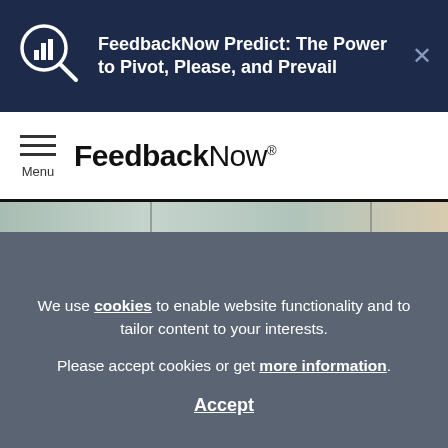FeedbackNow Predict: The Power to Pivot, Please, and Prevail
[Figure (logo): FeedbackNow logo with menu icon]
[Figure (photo): Photo strip of FeedbackNow devices and a hand holding a phone]
We use cookies to enable website functionality and to tailor content to your interests.

Please accept cookies or get more information.

Accept